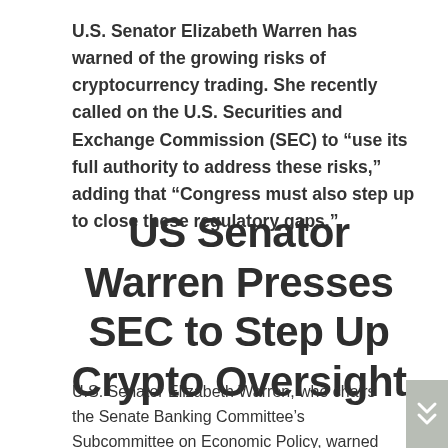U.S. Senator Elizabeth Warren has warned of the growing risks of cryptocurrency trading. She recently called on the U.S. Securities and Exchange Commission (SEC) to “use its full authority to address these risks,” adding that “Congress must also step up to close these regulatory gaps.”
US Senator Warren Presses SEC to Step Up Crypto Oversight
U.S. Senator Elizabeth Warren, who chairs the Senate Banking Committee’s Subcommittee on Economic Policy, warned Thursday of the growing